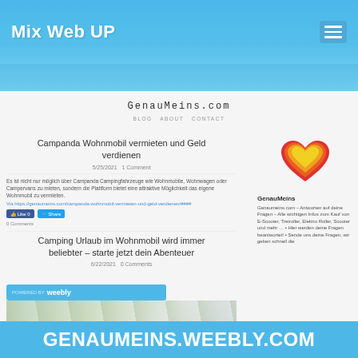Mix Web UP
GenauMeins.com
BLOG   ABOUT   CONTACT
Campanda Wohnmobil vermieten und Geld verdienen
5/25/2021   1 Comment
Es ist nicht nur möglich über Campanda Campingfahrzeuge wie Wohnmobile, Wohnwagen oder Campervans zu mieten, sondern die Plattform bietet eine attraktive Möglichkeit das eigene Wohnmobil zu vermieten.
Via https://genaumeins.com/campanda-wohnmobil-vermieten-und-geld-verdienen/####
[Figure (illustration): Colorful heart logo in red, orange, yellow gradient layers]
GenauMeins
Genaumeins.com – Antworten auf deine Fragen – Alle wichtigen Infos zum Kauf von E-Scooter, Tretroller, Elektro Roller, Scooter und mehr … • Hier werden deine Fragen beantwortet! • Sende uns deine Fragen, wir geben schnell die
Camping Urlaub im Wohnmobil wird immer beliebter – starte jetzt dein Abenteuer
6/22/2021   0 Comments
GENAUMEINS.WEEBLY.COM